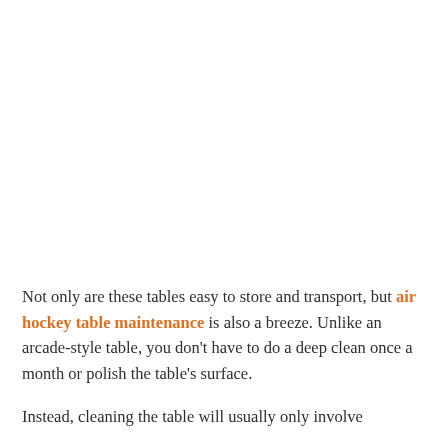Not only are these tables easy to store and transport, but air hockey table maintenance is also a breeze. Unlike an arcade-style table, you don't have to do a deep clean once a month or polish the table's surface.
Instead, cleaning the table will usually only involve